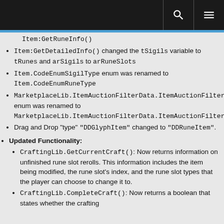Item:GetRuneInfo()
Item:GetDetailedInfo() changed the tSigils variable to tRunes and arSigils to arRuneSlots
Item.CodeEnumSigilType enum was renamed to Item.CodeEnumRuneType
MarketplaceLib.ItemAuctionFilterData.ItemAuctionFilterGlyphSlot enum was renamed to MarketplaceLib.ItemAuctionFilterData.ItemAuctionFilterRuneSlot.
Drag and Drop "type" "DDGlyphItem" changed to "DDRuneItem".
Updated Functionality:
CraftingLib.GetCurrentCraft(): Now returns information on unfinished rune slot rerolls. This information includes the item being modified, the rune slot's index, and the rune slot types that the player can choose to change it to.
CraftingLib.CompleteCraft(): Now returns a boolean that states whether the crafting